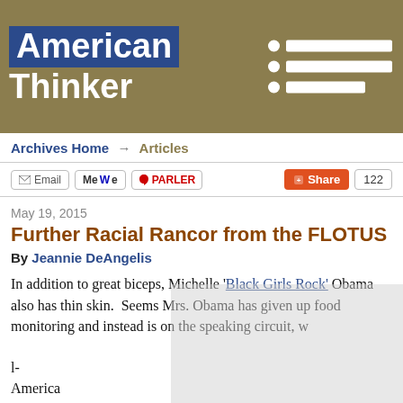[Figure (logo): American Thinker logo with navy blue background behind 'American' text and tan/gold background, with navigation menu items (circles and bars) on the right]
Archives Home → Articles
Email | MeWe | PARLER | Share 122
May 19, 2015
Further Racial Rancor from the FLOTUS
By Jeannie DeAngelis
In addition to great biceps, Michelle 'Black Girls Rock' Obama also has thin skin.  Seems Mrs. Obama has given up food monitoring and instead is on the speaking circuit, w                                                            l- America                                                          ve as she is.

Regretta